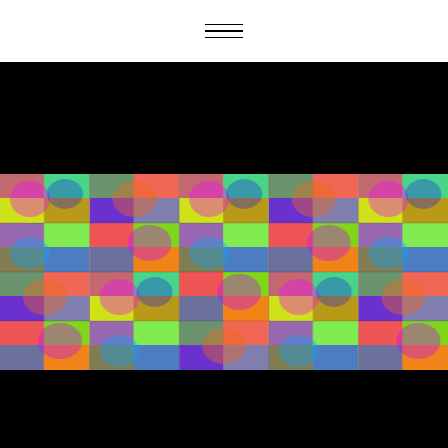[Figure (screenshot): Hamburger menu icon with three horizontal lines, centered in white top bar]
[Figure (photo): Black rectangular band]
[Figure (photo): Grid of colorful psychedelic repeated photos of people with heavy color channel distortion effects in neon greens, magentas, yellows, blues and reds arranged in a tiling grid pattern]
[Figure (photo): Black rectangular band at bottom]